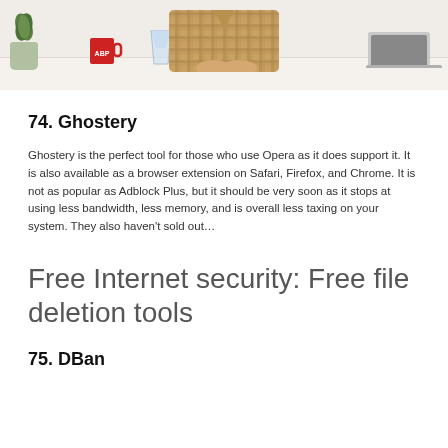[Figure (photo): Photo of a person sitting at a desk with a plant, an ABP red mug, a glass of water, and a laptop. Cropped to show torso and desk area only.]
74. Ghostery
Ghostery is the perfect tool for those who use Opera as it does support it. It is also available as a browser extension on Safari, Firefox, and Chrome. It is not as popular as Adblock Plus, but it should be very soon as it stops at using less bandwidth, less memory, and is overall less taxing on your system. They also haven't sold out…
Free Internet security: Free file deletion tools
75. DBan